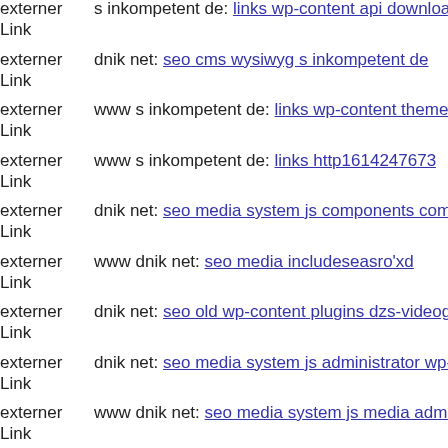externer Link  s inkompetent de: links wp-content api downloader components
externer Link  dnik net: seo cms wysiwyg s inkompetent de
externer Link  www s inkompetent de: links wp-content themes bizco lole
externer Link  www s inkompetent de: links http1614247673
externer Link  dnik net: seo media system js components com maian15 cha
externer Link  www dnik net: seo media includeseasro'xd
externer Link  dnik net: seo old wp-content plugins dzs-videogallery git he
externer Link  dnik net: seo media system js administrator wp-content ther
externer Link  www dnik net: seo media system js media administrator con
externer Link  www dnik net: seo components com foxcontact lib uploade
externer Link  mail inkompetent de: links components com b2jcontact lib
externer Link  s inkompetent de: links wp-content plugins wp-mobile-dete